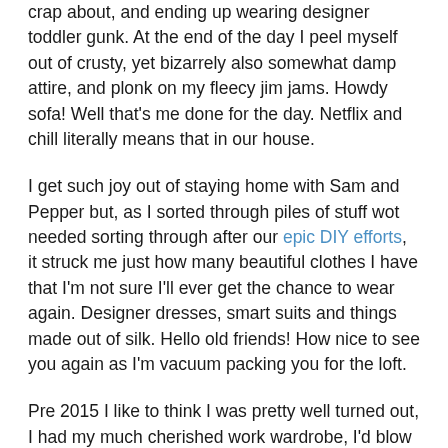crap about, and ending up wearing designer toddler gunk. At the end of the day I peel myself out of crusty, yet bizarrely also somewhat damp attire, and plonk on my fleecy jim jams. Howdy sofa! Well that's me done for the day. Netflix and chill literally means that in our house.
I get such joy out of staying home with Sam and Pepper but, as I sorted through piles of stuff wot needed sorting through after our epic DIY efforts, it struck me just how many beautiful clothes I have that I'm not sure I'll ever get the chance to wear again. Designer dresses, smart suits and things made out of silk. Hello old friends! How nice to see you again as I'm vacuum packing you for the loft.
Pre 2015 I like to think I was pretty well turned out, I had my much cherished work wardrobe, I'd blow dry my  hair and had a dressing table. Needless to say that's now been relocated to the spare room. These days I'm lucky if I ever...